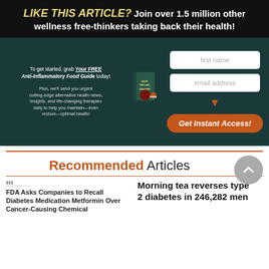[Figure (infographic): Newsletter signup banner with dark background. Top section: bold yellow italic 'LIKE THIS ARTICLE?' followed by white text 'Join over 1.5 million other wellness free-thinkers taking back their health!'. Body section has teal/dark background with left side text about free Anti-Inflammatory Food Guide, a book image in center, and right side showing first name input, email address input, orange arrow, and orange 'Get Instant Access!' button.]
Recommended Articles
FDA Asks Companies to Recall Diabetes Medication Metformin Over Cancer-Causing Chemical
Morning tea reverses type 2 diabetes in 246,282 men